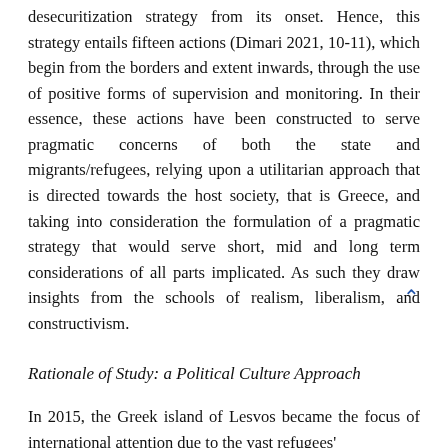desecuritization strategy from its onset. Hence, this strategy entails fifteen actions (Dimari 2021, 10-11), which begin from the borders and extent inwards, through the use of positive forms of supervision and monitoring. In their essence, these actions have been constructed to serve pragmatic concerns of both the state and migrants/refugees, relying upon a utilitarian approach that is directed towards the host society, that is Greece, and taking into consideration the formulation of a pragmatic strategy that would serve short, mid and long term considerations of all parts implicated. As such they draw insights from the schools of realism, liberalism, and constructivism.
Rationale of Study: a Political Culture Approach
In 2015, the Greek island of Lesvos became the focus of international attention due to the vast refugees'